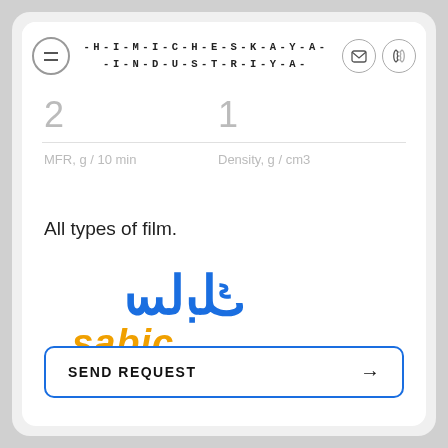-H-I-M-I-C-H-E-S-K-A-Y-A- -I-N-D-U-S-T-R-I-Y-A-
2
1
MFR, g / 10 min
Density, g / cm3
All types of film.
[Figure (logo): SABIC logo — Arabic text in blue above, Latin 'sabic' text in orange below]
SEND REQUEST →